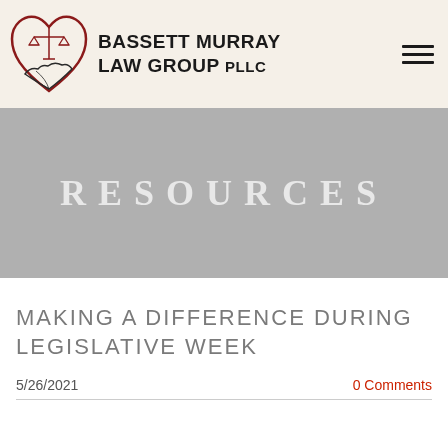[Figure (logo): Bassett Murray Law Group PLLC logo with scales of justice inside a heart shape and stylized hand]
BASSETT MURRAY LAW GROUP PLLC
RESOURCES
MAKING A DIFFERENCE DURING LEGISLATIVE WEEK
5/26/2021
0 Comments